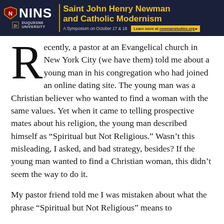[Figure (other): Advertisement banner for NINS (Newman Institute for Newman Studies) at Duquesne University. Dark navy background with gold text reading 'Saint John Henry Newman and Catholic Modernism — A Symposium on October 17 & 18. Learn more at newmanstudies.org']
Recently, a pastor at an Evangelical church in New York City (we have them) told me about a young man in his congregation who had joined an online dating site. The young man was a Christian believer who wanted to find a woman with the same values. Yet when it came to telling prospective mates about his religion, the young man described himself as “Spiritual but Not Religious.” Wasn’t this misleading, I asked, and bad strategy, besides? If the young man wanted to find a Christian woman, this didn’t seem the way to do it.
My pastor friend told me I was mistaken about what the phrase “Spiritual but Not Religious” means to